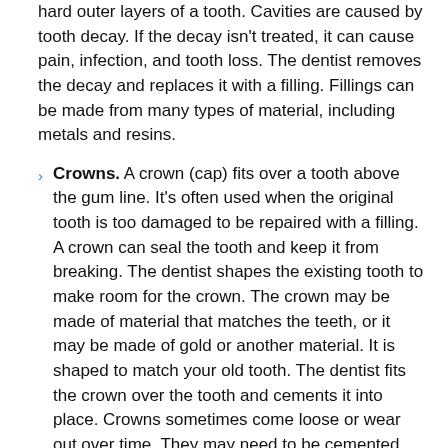hard outer layers of a tooth. Cavities are caused by tooth decay. If the decay isn't treated, it can cause pain, infection, and tooth loss. The dentist removes the decay and replaces it with a filling. Fillings can be made from many types of material, including metals and resins.
Crowns. A crown (cap) fits over a tooth above the gum line. It's often used when the original tooth is too damaged to be repaired with a filling. A crown can seal the tooth and keep it from breaking. The dentist shapes the existing tooth to make room for the crown. The crown may be made of material that matches the teeth, or it may be made of gold or another material. It is shaped to match your old tooth. The dentist fits the crown over the tooth and cements it into place. Crowns sometimes come loose or wear out over time. They may need to be cemented again or replaced.
Bridges. A bridge replaces a missing tooth. It's usually made up of the replacement tooth